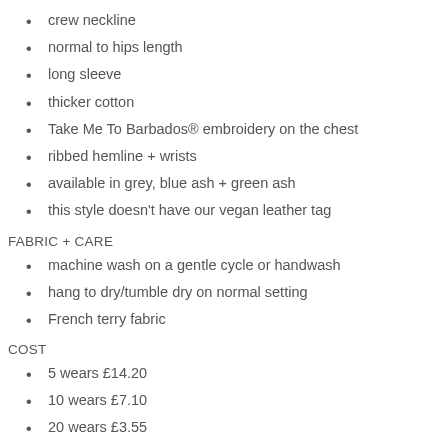crew neckline
normal to hips length
long sleeve
thicker cotton
Take Me To Barbados® embroidery on the chest
ribbed hemline + wrists
available in grey, blue ash + green ash
this style doesn't have our vegan leather tag
FABRIC + CARE
machine wash on a gentle cycle or handwash
hang to dry/tumble dry on normal setting
French terry fabric
COST
5 wears £14.20
10 wears £7.10
20 wears £3.55
50 wears £1.42
STYLE GUIDE
pair with mom jeans or any other trousers for a casual look